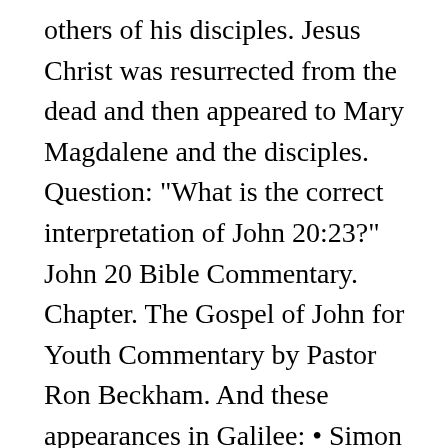others of his disciples. Jesus Christ was resurrected from the dead and then appeared to Mary Magdalene and the disciples. Question: "What is the correct interpretation of John 20:23?" John 20 Bible Commentary. Chapter. The Gospel of John for Youth Commentary by Pastor Ron Beckham. And these appearances in Galilee: • Simon Peter, Thomas, Nathanael, the The Resurrection. Biblical Commentary (Bible study) John 20:19–31 EXEGESIS: JOHN 20:1–21. • The disciples, including Thomas (20:24–29). John Chapter 20 (King James Version) 1 The first day of the week cometh Mary Magdalene early, when it was yet dark, unto the sepulchre, and seeth the stone taken away from the sepulchre. John 20:23 - If you forgive the sins